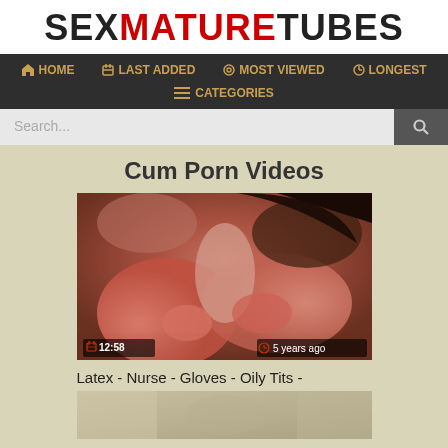SEXMATURETUBES
HOME | LAST ADDED | MOST VIEWED | LONGEST | CATEGORIES
Search...
Cum Porn Videos
[Figure (photo): Video thumbnail showing close-up scene with red latex gloves, duration badge 12:58, time badge 5 years ago]
Latex - Nurse - Gloves - Oily Tits -
[Figure (photo): Partial video thumbnail visible at bottom of page]